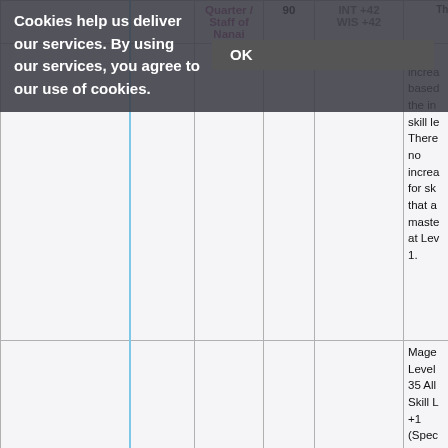| Name |  | Quarter / Staff of Nanai | 90 | INT +42 / WIS +42 | description |
| --- | --- | --- | --- | --- | --- |
|  |  |  |  |  | level increases based on the item skill level. There is no increase for skills that are mastered at Level 1. |
|  |  |  |  |  | Mage Level 35 All Skill Level +1 (Special Skills exclu... |
Cookies help us deliver our services. By using our services, you agree to our use of cookies. OK